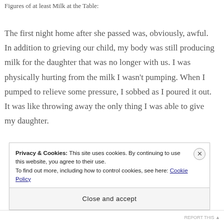Figures of at least Milk at the Table:
The first night home after she passed was, obviously, awful. In addition to grieving our child, my body was still producing milk for the daughter that was no longer with us. I was physically hurting from the milk I wasn't pumping. When I pumped to relieve some pressure, I sobbed as I poured it out. It was like throwing away the only thing I was able to give my daughter.
Privacy & Cookies: This site uses cookies. By continuing to use this website, you agree to their use. To find out more, including how to control cookies, see here: Cookie Policy
Close and accept